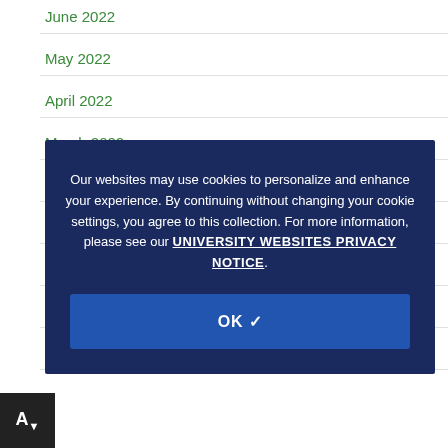June 2022
May 2022
April 2022
March 2022
January 2022
October 2020
September 2020
July 2020
May 2020
Our websites may use cookies to personalize and enhance your experience. By continuing without changing your cookie settings, you agree to this collection. For more information, please see our UNIVERSITY WEBSITES PRIVACY NOTICE.